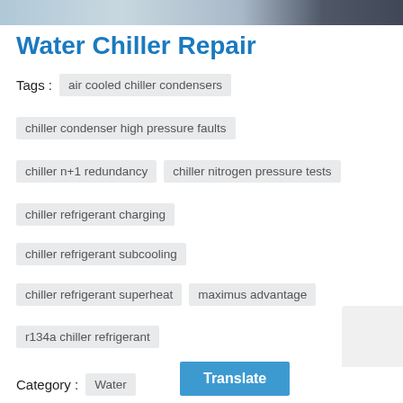[Figure (photo): Partial view of a water chiller unit or HVAC equipment at the top of the page]
Water Chiller Repair
Tags : air cooled chiller condensers
chiller condenser high pressure faults
chiller n+1 redundancy
chiller nitrogen pressure tests
chiller refrigerant charging
chiller refrigerant subcooling
chiller refrigerant superheat
maximus advantage
r134a chiller refrigerant
Category : Water
Translate